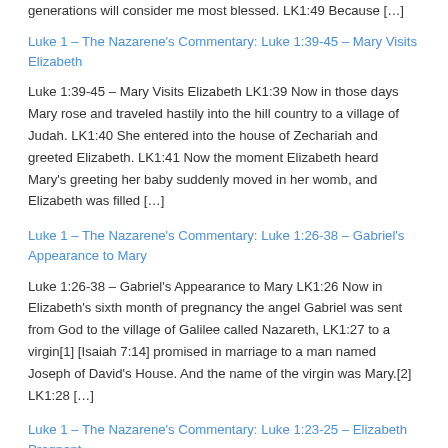generations will consider me most blessed. LK1:49 Because […]
Luke 1 – The Nazarene's Commentary: Luke 1:39-45 – Mary Visits Elizabeth
Luke 1:39-45 – Mary Visits Elizabeth LK1:39 Now in those days Mary rose and traveled hastily into the hill country to a village of Judah. LK1:40 She entered into the house of Zechariah and greeted Elizabeth. LK1:41 Now the moment Elizabeth heard Mary's greeting her baby suddenly moved in her womb, and Elizabeth was filled […]
Luke 1 – The Nazarene's Commentary: Luke 1:26-38 – Gabriel's Appearance to Mary
Luke 1:26-38 – Gabriel's Appearance to Mary LK1:26 Now in Elizabeth's sixth month of pregnancy the angel Gabriel was sent from God to the village of Galilee called Nazareth, LK1:27 to a virgin[1] [Isaiah 7:14] promised in marriage to a man named Joseph of David's House. And the name of the virgin was Mary.[2] LK1:28 […]
Luke 1 – The Nazarene's Commentary: Luke 1:23-25 – Elizabeth Pregnant
Luke 1:23-25 – Elizabeth Pregnant LK1:23 Now it came to pass that when Zechariah's priestly service was finished[1] he left to his own